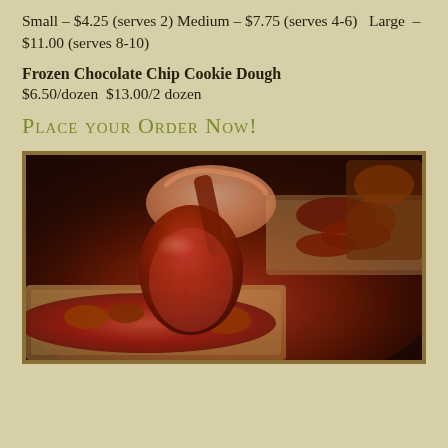Small – $4.25 (serves 2) Medium – $7.75 (serves 4-6)  Large  – $11.00 (serves 8-10)
Frozen Chocolate Chip Cookie Dough
$6.50/dozen  $13.00/2 dozen
Place your Order Now!
[Figure (photo): Close-up photo of a ladle or spoon scooping glazed, saucy meat (appears to be BBQ or teriyaki chicken/ribs) from a foil catering tray. The food is coated in a rich red-brown sauce. Background shows additional foil trays with similar food.]